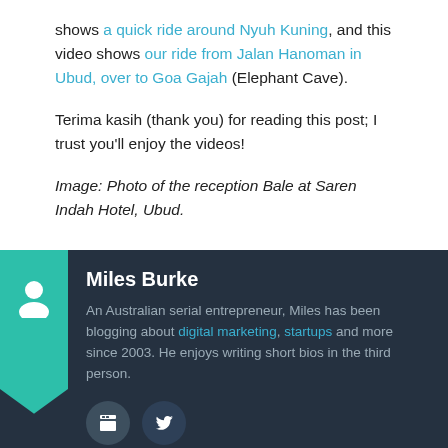shows a quick ride around Nyuh Kuning, and this video shows our ride from Jalan Hanoman in Ubud, over to Goa Gajah (Elephant Cave).
Terima kasih (thank you) for reading this post; I trust you'll enjoy the videos!
Image: Photo of the reception Bale at Saren Indah Hotel, Ubud.
Miles Burke
An Australian serial entrepreneur, Miles has been blogging about digital marketing, startups and more since 2003. He enjoys writing short bios in the third person.